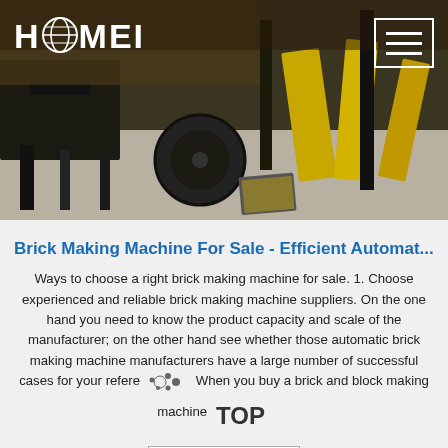[Figure (photo): Hero image showing industrial machinery/brick making machine equipment in a factory setting with yellow panels and dark background. HAOMEI logo visible top left, hamburger menu icon top right.]
Brick Making Machine For Sale - Efficient Automat...
Ways to choose a right brick making machine for sale. 1. Choose experienced and reliable brick making machine suppliers. On the one hand you need to know the product capacity and scale of the manufacturer; on the other hand see whether those automatic brick making machine manufacturers have a large number of successful cases for your reference. When you buy a brick and block making machine
[Figure (logo): TOP badge/watermark in bottom right corner]
Get Price